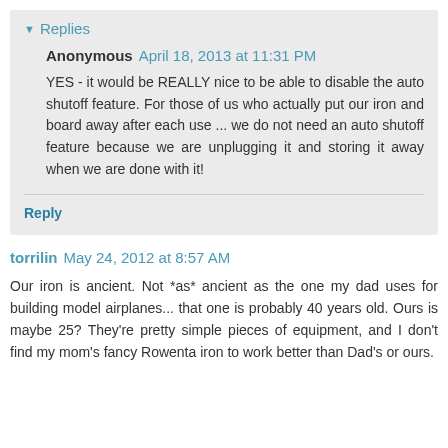▼ Replies
Anonymous April 18, 2013 at 11:31 PM
YES - it would be REALLY nice to be able to disable the auto shutoff feature. For those of us who actually put our iron and board away after each use ... we do not need an auto shutoff feature because we are unplugging it and storing it away when we are done with it!
Reply
torrilin May 24, 2012 at 8:57 AM
Our iron is ancient. Not *as* ancient as the one my dad uses for building model airplanes... that one is probably 40 years old. Ours is maybe 25? They're pretty simple pieces of equipment, and I don't find my mom's fancy Rowenta iron to work better than Dad's or ours.